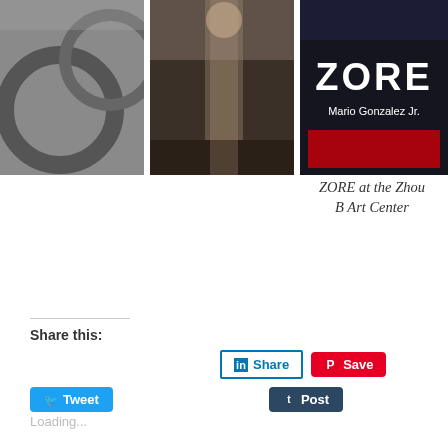[Figure (photo): Three photos in a row: left shows a curved architectural detail (swirl/graffiti), center shows a gallery interior hallway, right shows a book cover 'ZORE Mario Gonzalez Jr.' with dark background and white text]
ZORE at the Zhou B Art Center
Share this:
[Figure (infographic): Social sharing buttons: Tweet (Twitter blue), Share (LinkedIn blue outline), Save (Pinterest red), Post (Tumblr dark navy)]
Loading...